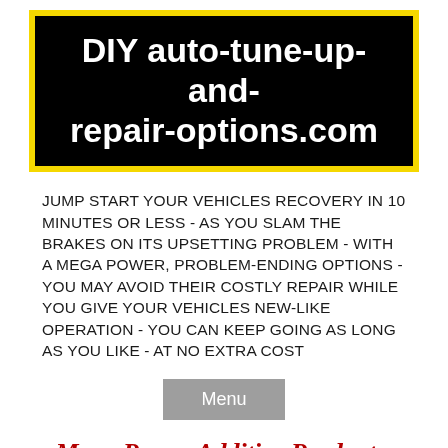DIY auto-tune-up-and-repair-options.com
JUMP START YOUR VEHICLES RECOVERY IN 10 MINUTES OR LESS - AS YOU SLAM THE BRAKES ON ITS UPSETTING PROBLEM - WITH A MEGA POWER, PROBLEM-ENDING OPTIONS - YOU MAY AVOID THEIR COSTLY REPAIR WHILE YOU GIVE YOUR VEHICLES NEW-LIKE OPERATION - YOU CAN KEEP GOING AS LONG AS YOU LIKE - AT NO EXTRA COST
Menu
Mega Power Additive Products.